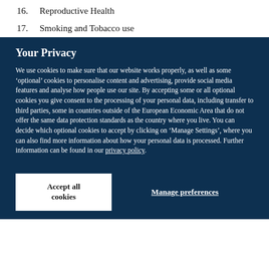16. Reproductive Health
17. Smoking and Tobacco use
Your Privacy
We use cookies to make sure that our website works properly, as well as some ‘optional’ cookies to personalise content and advertising, provide social media features and analyse how people use our site. By accepting some or all optional cookies you give consent to the processing of your personal data, including transfer to third parties, some in countries outside of the European Economic Area that do not offer the same data protection standards as the country where you live. You can decide which optional cookies to accept by clicking on ‘Manage Settings’, where you can also find more information about how your personal data is processed. Further information can be found in our privacy policy.
Accept all cookies
Manage preferences